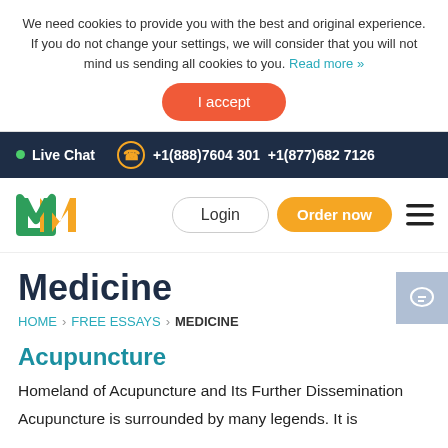We need cookies to provide you with the best and original experience. If you do not change your settings, we will consider that you will not mind us sending all cookies to you. Read more »
I accept
Live Chat  +1(888)7604 301  +1(877)682 7126
[Figure (logo): MN stylized logo in orange and green]
Login
Order now
Medicine
HOME > FREE ESSAYS > MEDICINE
Acupuncture
Homeland of Acupuncture and Its Further Dissemination
Acupuncture is surrounded by many legends. It is